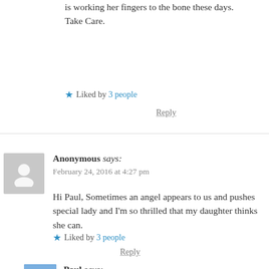is working her fingers to the bone these days. Take Care.
★ Liked by 3 people
Reply
Anonymous says: February 24, 2016 at 4:27 pm
Hi Paul, Sometimes an angel appears to us and pushes special lady and I'm so thrilled that my daughter thinks she can.
★ Liked by 3 people
Reply
Paul says: February 24, 2016 at 6:17 pm